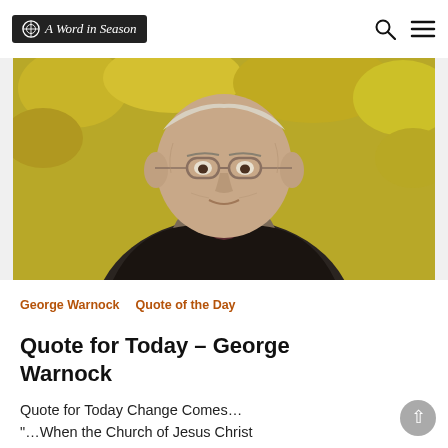A Word in Season
[Figure (photo): Elderly man with glasses wearing a dark jacket with fur collar, smiling, with yellow autumn foliage in background. Portrait photo of George Warnock.]
George Warnock   Quote of the Day
Quote for Today – George Warnock
Quote for Today Change Comes…
"…When the Church of Jesus Christ